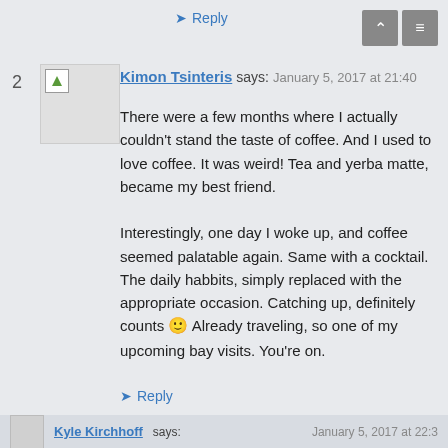↪ Reply
Kimon Tsinteris says: January 5, 2017 at 21:40
There were a few months where I actually couldn't stand the taste of coffee. And I used to love coffee. It was weird! Tea and yerba matte, became my best friend.

Interestingly, one day I woke up, and coffee seemed palatable again. Same with a cocktail. The daily habbits, simply replaced with the appropriate occasion. Catching up, definitely counts 🙂 Already traveling, so one of my upcoming bay visits. You're on.
↪ Reply
Kyle Kirchhoff says: January 5, 2017 at 22:3